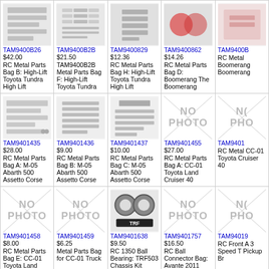| TAM9400B26 $42.00
RC Metal Parts Bag B: High-Lift Toyota Tundra High Lift | TAM9400B2B $21.50
TAM9400B2B Metal Parts Bag F: High-Lift Toyota Tundra | TAM9400829 $12.36
RC Metal Parts Bag H: High-Lift Toyota Tundra High Lift | TAM9400862 $14.26
RC Metal Parts Bag D: Boomerang The Boomerang | TAM9400B... RC Metal Boomerang Boomerang |
| TAM9401435 $28.00
RC Metal Parts Bag A: M-05 Abarth 500 Assetto Corse | TAM9401436 $9.00
RC Metal Parts Bag B: M-05 Abarth 500 Assetto Corse | TAM9401437 $10.00
RC Metal Parts Bag C: M-05 Abarth 500 Assetto Corse | TAM9401455 $27.00
RC Metal Parts Bag A: CC-01 Toyota Land Cruiser 40 | TAM9401... RC Metal CC-01 Toyota Cruiser 40 |
| TAM9401458 $8.00
RC Metal Parts Bag E: CC-01 Toyota Land Cruiser 40 | TAM9401459 $6.25
Metal Parts Bag for CC-01 Truck | TAM9401638 $9.50
RC 1350 Ball Bearing: TRF503 Chassis Kit 5x13mm | TAM9401757 $16.50
RC Ball Connector Bag: Avante 2011 | TAM94019... RC Front A 3 Speed T Pickup Br |
| TAM9402B40 $15.50
RC Tires: CC-01 (XC) Mitsubishi Pajero Black Special | TAM9402919 $18.50
RC Tires: Cc-01 (Xc) Mercedes-Benz Unimog 425 | TAM9403411 $15.60
Rc Sprocket Wheel: 56041/36212, Inner X2, Outer X2 | TAM9404458 $12.00
RC Gp Counter Shaft Bag: TGM-03 TNX - Nitro X | TAM9404... Suspension Bag: TGM TGM04 4X Monst |
| (bottom row partial) | (bottom row partial) | (bottom row partial) | (bottom row partial) | (bottom row partial) |